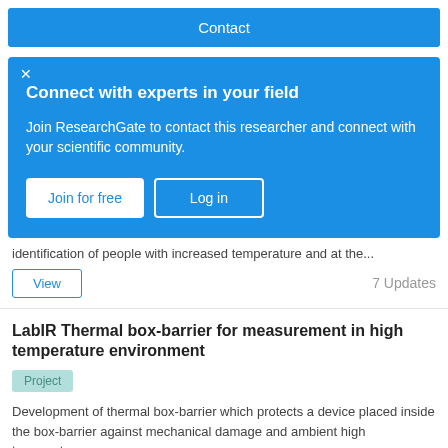Contact
Connect with experts in your field
Join ResearchGate to contact this researcher and connect with your scientific community.
identification of people with increased temperature and at the...
7 Updates
LabIR Thermal box-barrier for measurement in high temperature environment
Project
Development of thermal box-barrier which protects a device placed inside the box-barrier against mechanical damage and ambient high temperatures